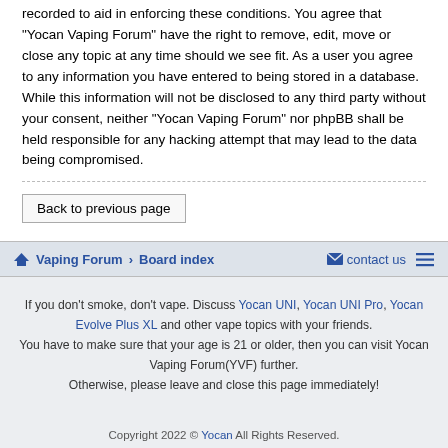recorded to aid in enforcing these conditions. You agree that "Yocan Vaping Forum" have the right to remove, edit, move or close any topic at any time should we see fit. As a user you agree to any information you have entered to being stored in a database. While this information will not be disclosed to any third party without your consent, neither "Yocan Vaping Forum" nor phpBB shall be held responsible for any hacking attempt that may lead to the data being compromised.
Back to previous page
Vaping Forum › Board index | contact us
If you don't smoke, don't vape. Discuss Yocan UNI, Yocan UNI Pro, Yocan Evolve Plus XL and other vape topics with your friends.
You have to make sure that your age is 21 or older, then you can visit Yocan Vaping Forum(YVF) further.
Otherwise, please leave and close this page immediately!
Copyright 2022 © Yocan All Rights Reserved.
Yocan Help Center | Reviewer Form | Distributor Form
| Privacy | Terms